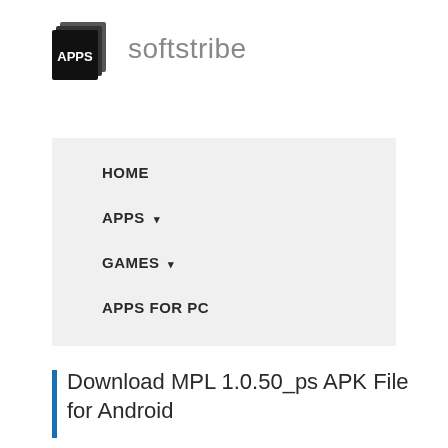[Figure (logo): Softstribe logo: stacked pages icon with APPS text in white on black background, followed by gray 'softstribe' wordmark]
HOME
APPS ▾
GAMES ▾
APPS FOR PC
Download MPL 1.0.50_ps APK File for Android